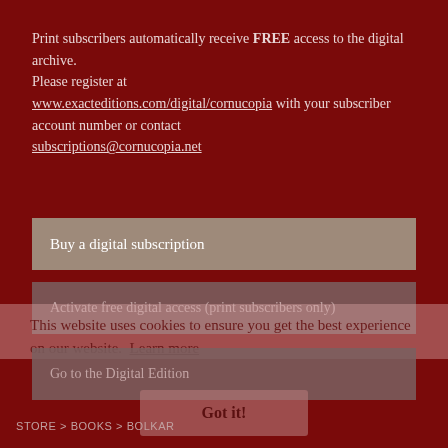Print subscribers automatically receive FREE access to the digital archive. Please register at www.exacteditions.com/digital/cornucopia with your subscriber account number or contact subscriptions@cornucopia.net
Buy a digital subscription
Activate free digital access (print subscribers only)
This website uses cookies to ensure you get the best experience on our website. Learn more
Go to the Digital Edition
Got it!
STORE > BOOKS > BOLKAR